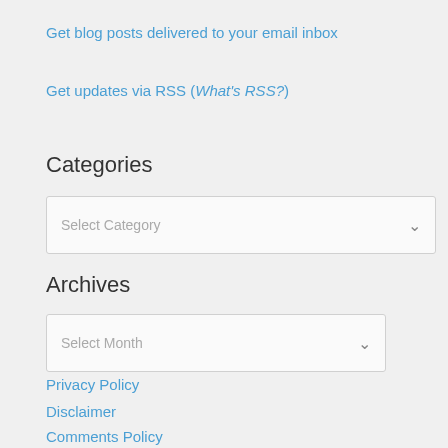Get blog posts delivered to your email inbox
Get updates via RSS (What's RSS?)
Categories
Select Category
Archives
Select Month
Privacy Policy
Disclaimer
Comments Policy